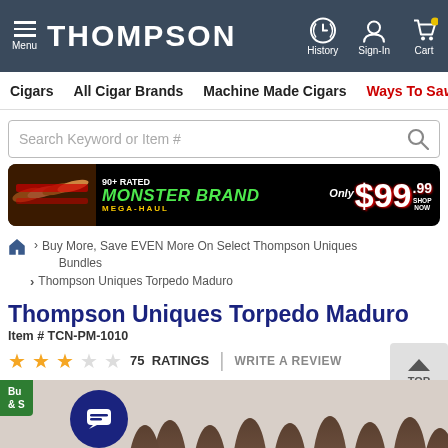THOMPSON | Menu | History | Sign-In | Cart
Cigars | All Cigar Brands | Machine Made Cigars | Ways To Save
[Figure (screenshot): Search bar with placeholder text 'Search Keyword or Item #' and search icon]
[Figure (infographic): Banner ad: 90+ Rated Monster Brand Mega-Haul Only $99.99 Shop Now]
Buy More, Save EVEN More On Select Thompson Uniques Bundles
Thompson Uniques Torpedo Maduro
Thompson Uniques Torpedo Maduro
Item # TCN-PM-1010
75 RATINGS | WRITE A REVIEW
[Figure (photo): Photo of Thompson Uniques Torpedo Maduro cigars showing pointed tips, with a green 'Buy & Save' badge in the corner and a dark blue chat button overlay]